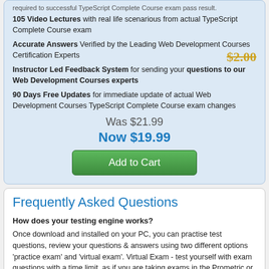required to successful TypeScript Complete Course exam pass result.
105 Video Lectures with real life scenarious from actual TypeScript Complete Course exam
Accurate Answers Verified by the Leading Web Development Courses Certification Experts  $2.00
Instructor Led Feedback System for sending your questions to our Web Development Courses experts
90 Days Free Updates for immediate update of actual Web Development Courses TypeScript Complete Course exam changes
Was $21.99
Now $19.99
Add to Cart
Frequently Asked Questions
How does your testing engine works?
Once download and installed on your PC, you can practise test questions, review your questions & answers using two different options 'practice exam' and 'virtual exam'. Virtual Exam - test yourself with exam questions with a time limit, as if you are taking exams in the Prometric or VUE testing centre. Practice exam - review exam questions one by one, see correct answers and explanations.